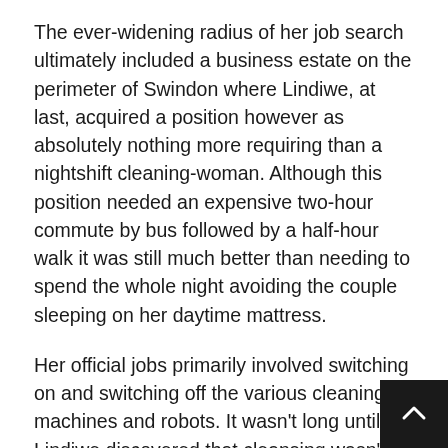The ever-widening radius of her job search ultimately included a business estate on the perimeter of Swindon where Lindiwe, at last, acquired a position however as absolutely nothing more requiring than a nightshift cleaning-woman. Although this position needed an expensive two-hour commute by bus followed by a half-hour walk it was still much better than needing to spend the whole night avoiding the couple sleeping on her daytime mattress.
Her official jobs primarily involved switching on and switching off the various cleaning machines and robots. It wasn't long until Lindiwe discovered that cleansing wasn't everything she was anticipated to do, although it wasn't written into her terms and conditions of work (which, in any case, were entirely verbal and concurred with a handshake).
Throughout the very first week that Lindiwe worked at the Monbiot eco-business park, she became conscious of the presence of rooms that were out of bounds to her and the other night-time